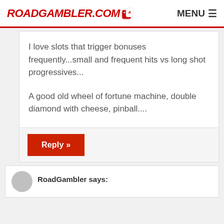ROADGAMBLER.COM  MENU
I love slots that trigger bonuses frequently...small and frequent hits vs long shot progressives...
A good old wheel of fortune machine, double diamond with cheese, pinball....
Reply »
RoadGambler says: